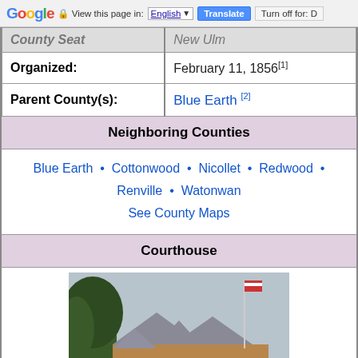Google Translate bar — View this page in: English | Translate | Turn off for: D
| County Seat: | New Ulm |
| Organized: | February 11, 1856[1] |
| Parent County(s): | Blue Earth [2] |
Neighboring Counties
Blue Earth • Cottonwood • Nicollet • Redwood • Renville • Watonwan
See County Maps
Courthouse
[Figure (photo): Photo of a brick courthouse building with gothic-style arched windows, a grey roof, and a flagpole. Trees visible on the left side.]